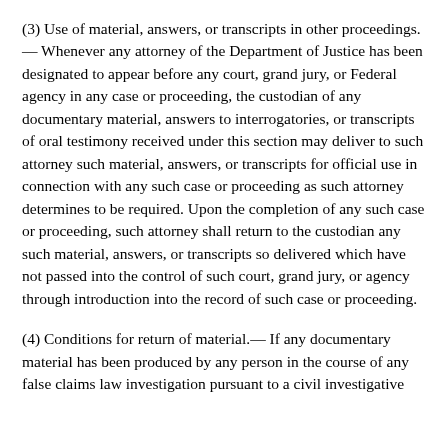(3) Use of material, answers, or transcripts in other proceedings.— Whenever any attorney of the Department of Justice has been designated to appear before any court, grand jury, or Federal agency in any case or proceeding, the custodian of any documentary material, answers to interrogatories, or transcripts of oral testimony received under this section may deliver to such attorney such material, answers, or transcripts for official use in connection with any such case or proceeding as such attorney determines to be required. Upon the completion of any such case or proceeding, such attorney shall return to the custodian any such material, answers, or transcripts so delivered which have not passed into the control of such court, grand jury, or agency through introduction into the record of such case or proceeding.
(4) Conditions for return of material.— If any documentary material has been produced by any person in the course of any false claims law investigation pursuant to a civil investigative